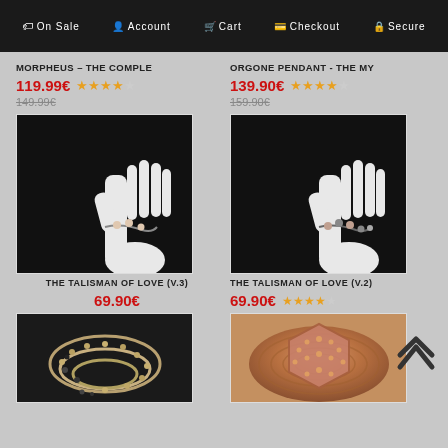On Sale | Account | Cart | Checkout | Secure
MORPHEUS – THE COMPLE
ORGONE PENDANT - THE MY
119.99€ ★★★★☆ 149.99€
139.90€ ★★★★☆ 159.90€
[Figure (photo): Bracelet on white mannequin hand against dark background - The Talisman of Love V.3]
[Figure (photo): Bracelet on white mannequin hand against dark background - The Talisman of Love V.2]
THE TALISMAN OF LOVE (V.3)
THE TALISMAN OF LOVE (V.2)
69.90€
69.90€ ★★★★☆
[Figure (photo): Beaded necklace coiled on dark background]
[Figure (photo): Copper/orgone pyramid-style jewelry piece on wooden surface]